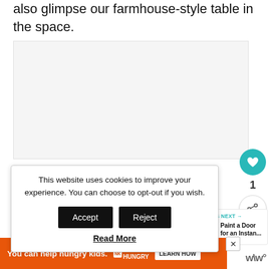also glimpse our farmhouse-style table in the space.
[Figure (photo): A photo placeholder showing a farmhouse-style table in a room interior.]
This website uses cookies to improve your experience. You can choose to opt-out if you wish.
Accept | Reject
Read More
WHAT'S NEXT → Paint a Door for an Instan...
You can help hungry kids. NOKID HUNGRY LEARN HOW